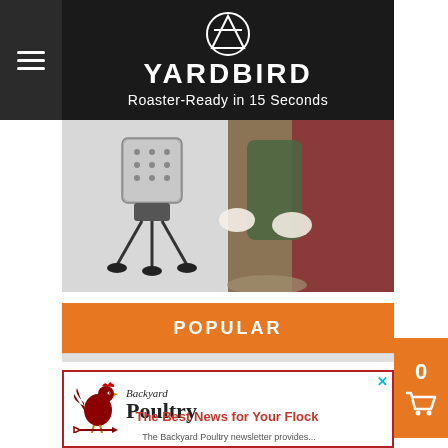[Figure (logo): Hamburger menu icon on dark background sidebar]
[Figure (photo): Yardbird brand banner: logo with text YARDBIRD and tagline Roaster-Ready in 15 Seconds on black background]
[Figure (photo): Product photo: Yardbird chicken plucker machine on left, man holding plucked chicken outdoors on right]
POPULAR
[Figure (illustration): Backyard Poultry advertisement with red rooster logo, title Backyard Poultry, slogan The Best News for Your Flock, and partial body text The Backyard Poultry newsletter provides...]
[Figure (other): Orange shopping cart button with 0 items count]